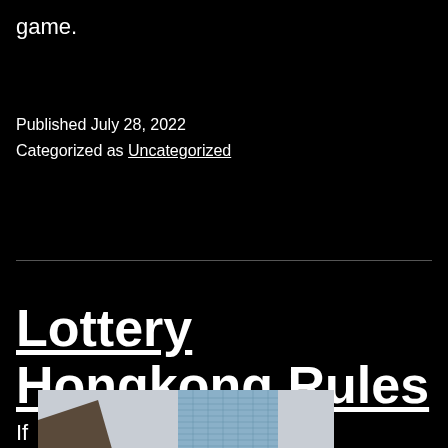game.
Published July 28, 2022
Categorized as Uncategorized
Lottery Hongkong Rules
If
[Figure (photo): Low-angle view of a tall residential or commercial tower building against a grey sky]